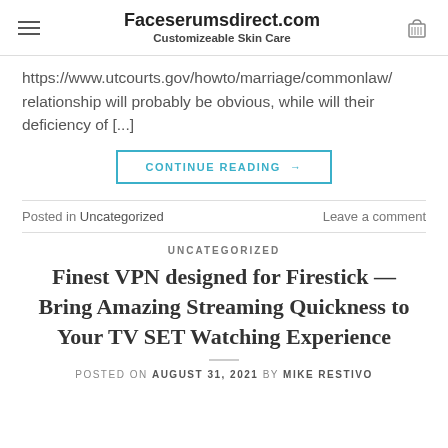Faceserumsdirect.com — Customizeable Skin Care
https://www.utcourts.gov/howto/marriage/commonlaw/ relationship will probably be obvious, while will their deficiency of [...]
CONTINUE READING →
Posted in Uncategorized    Leave a comment
UNCATEGORIZED
Finest VPN designed for Firestick — Bring Amazing Streaming Quickness to Your TV SET Watching Experience
POSTED ON AUGUST 31, 2021 BY MIKE RESTIVO